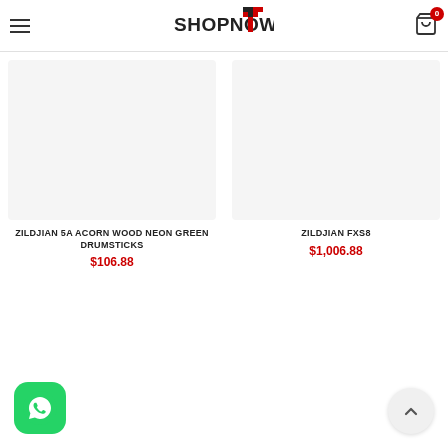SHOPNOW [logo] | cart 0
[Figure (screenshot): Product image placeholder for Zildjian 5A Acorn Wood Neon Green Drumsticks]
ZILDJIAN 5A ACORN WOOD NEON GREEN DRUMSTICKS
$106.88
[Figure (screenshot): Product image placeholder for Zildjian FXS8]
ZILDJIAN FXS8
$1,006.88
[Figure (logo): WhatsApp button - green rounded square icon at bottom left]
[Figure (other): Scroll to top button - circular grey button with upward chevron at bottom right]